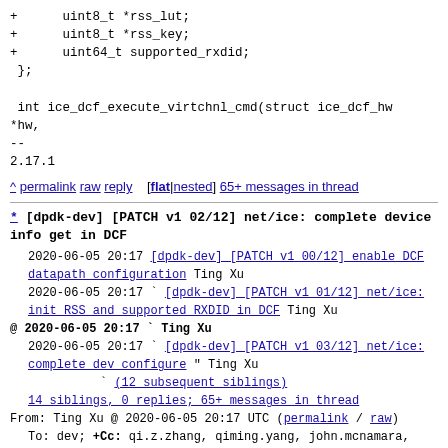+ uint8_t *rss_lut;
+ uint8_t *rss_key;
+ uint64_t supported_rxdid;
 };

 int ice_dcf_execute_virtchnl_cmd(struct ice_dcf_hw *hw,
--
2.17.1
^ permalink raw reply [flat|nested] 65+ messages in thread
* [dpdk-dev] [PATCH v1 02/12] net/ice: complete device info get in DCF
2020-06-05 20:17 [dpdk-dev] [PATCH v1 00/12] enable DCF datapath configuration Ting Xu
   2020-06-05 20:17 ` [dpdk-dev] [PATCH v1 01/12] net/ice: init RSS and supported RXDID in DCF Ting Xu
@ 2020-06-05 20:17 ` Ting Xu
   2020-06-05 20:17 ` [dpdk-dev] [PATCH v1 03/12] net/ice: complete dev configure " Ting Xu
                   ` (12 subsequent siblings)
   14 siblings, 0 replies; 65+ messages in thread
From: Ting Xu @ 2020-06-05 20:17 UTC (permalink / raw)
  To: dev; +Cc: qi.z.zhang, qiming.yang, john.mcnamara, marko.kovacevic